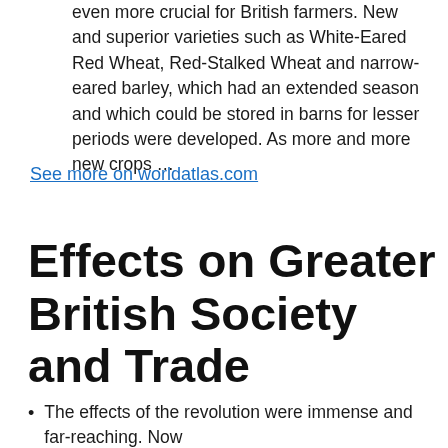even more crucial for British farmers. New and superior varieties such as White-Eared Red Wheat, Red-Stalked Wheat and narrow-eared barley, which had an extended season and which could be stored in barns for lesser periods were developed. As more and more new crops …
See more on worldatlas.com
Effects on Greater British Society and Trade
The effects of the revolution were immense and far-reaching. Now